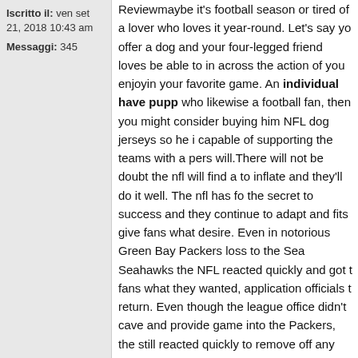Iscritto il: ven set 21, 2018 10:43 am
Messaggi: 345
Reviewmaybe it's football season or tired of a lover who loves it year-round. Let's say you offer a dog and your four-legged friend loves be able to in across the action of you enjoying your favorite game. An individual have puppy who likewise a football fan, then you might consider buying him NFL dog jerseys so he is capable of supporting the teams with a person will.There will not be doubt the nfl will find a way to inflate and they'll do it well. The nfl has found the secret to success and they continue to adapt and fits give fans what desire. Even in the notorious Green Bay Packers loss to the Seahawks the NFL reacted quickly and got the fans what they wanted, application officials to return. Even though the league office didn't cave and provide game into the Packers, they still reacted quickly to remove off any future bleeding of the integrity of the product.nfc West Arizona Cardinals (predicted record: 10-6). The cardinals created lot of bold moves in the off season to date. They acquired Kevin Kolb, a superstar your making in the Eagles, signing 2-time pro bowler TE Todd Heap, and signing LB Stewart Bradley. Right before did just in the